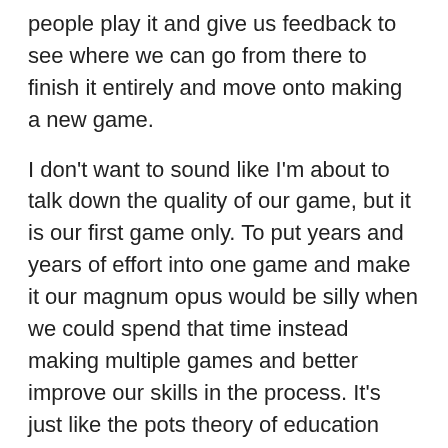people play it and give us feedback to see where we can go from there to finish it entirely and move onto making a new game.
I don't want to sound like I'm about to talk down the quality of our game, but it is our first game only. To put years and years of effort into one game and make it our magnum opus would be silly when we could spend that time instead making multiple games and better improve our skills in the process. It's just like the pots theory of education that I wrote about in this previous post On Teaching Yourself. The students who made multiple pots improved their skills faster than the students who focused on trying to make that one perfect pot.
While trying to finish Not Without My Kittens, maybe I should use this blog more as a dev blog to show how